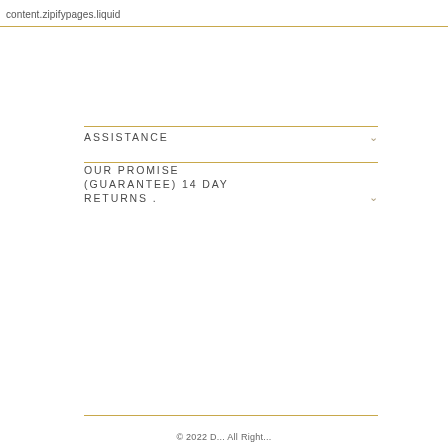content.zipifypages.liquid
ASSISTANCE
OUR PROMISE (GUARANTEE) 14 DAY RETURNS .
© 2022 D... All Right...